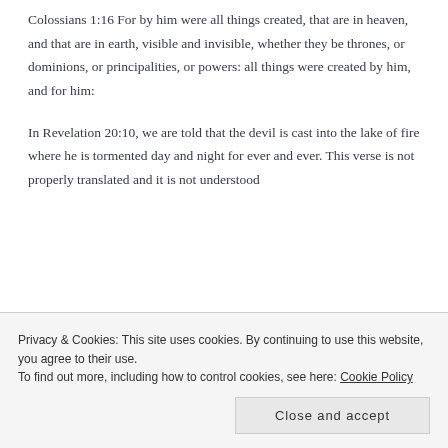Colossians 1:16 For by him were all things created, that are in heaven, and that are in earth, visible and invisible, whether they be thrones, or dominions, or principalities, or powers: all things were created by him, and for him:
In Revelation 20:10, we are told that the devil is cast into the lake of fire where he is tormented day and night for ever and ever. This verse is not properly translated and it is not understood by many yet, and believe that the lake of fi...
Privacy & Cookies: This site uses cookies. By continuing to use this website, you agree to their use.
To find out more, including how to control cookies, see here: Cookie Policy
Close and accept